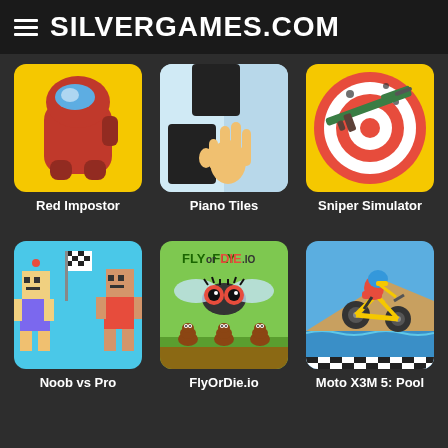SILVERGAMES.COM
[Figure (screenshot): Red Impostor game thumbnail - red Among Us character on yellow background]
Red Impostor
[Figure (screenshot): Piano Tiles game thumbnail - hand tapping black and white piano tiles]
Piano Tiles
[Figure (screenshot): Sniper Simulator game thumbnail - sniper rifle and target on yellow background]
Sniper Simulator
[Figure (screenshot): Noob vs Pro game thumbnail - pixel art characters with checkered flag]
Noob vs Pro
[Figure (screenshot): FlyOrDie.io game thumbnail - fly character with googly eyes and small creatures below]
FlyOrDie.io
[Figure (screenshot): Moto X3M 5: Pool game thumbnail - motorcycle rider on blue background]
Moto X3M 5: Pool